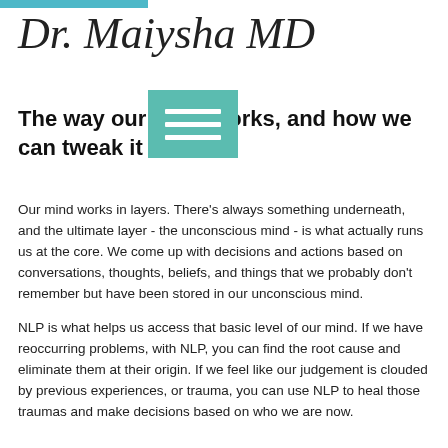Dr. Maiysha MD
The way our mind works, and how we can tweak it
Our mind works in layers. There's always something underneath, and the ultimate layer - the unconscious mind - is what actually runs us at the core. We come up with decisions and actions based on conversations, thoughts, beliefs, and things that we probably don't remember but have been stored in our unconscious mind.
NLP is what helps us access that basic level of our mind. If we have reoccurring problems, with NLP, you can find the root cause and eliminate them at their origin. If we feel like our judgement is clouded by previous experiences, or trauma, you can use NLP to heal those traumas and make decisions based on who we are now.